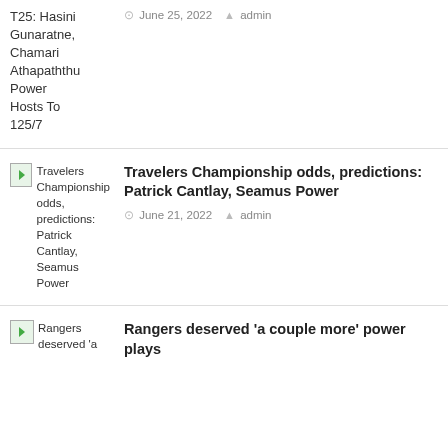T25: Hasini Gunaratne, Chamari Athapaththu Power Hosts To 125/7
June 25, 2022  admin
[Figure (other): Thumbnail image placeholder for Travelers Championship article]
Travelers Championship odds, predictions: Patrick Cantlay, Seamus Power
June 21, 2022  admin
[Figure (other): Thumbnail image placeholder for Rangers article]
Rangers deserved 'a couple more' power plays